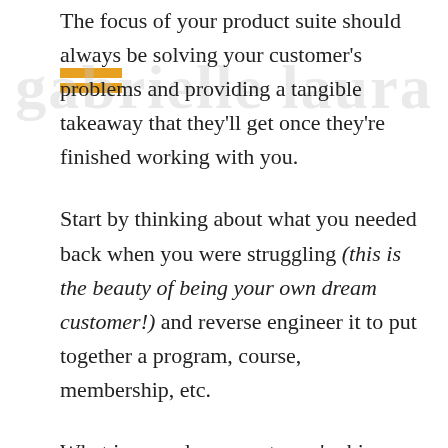The focus of your product suite should always be solving your customer's problems and providing a tangible takeaway that they'll get once they're finished working with you.
Start by thinking about what you needed back when you were struggling (this is the beauty of being your own dream customer!) and reverse engineer it to put together a program, course, membership, etc.
What is your dream customer's shiny north star? What do they want to walk away with by the time they're done working with you. Showcase that heavily in your product suite